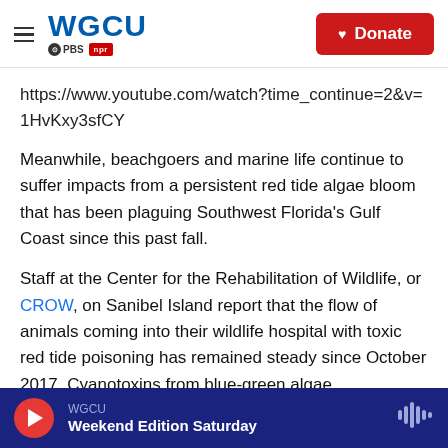WGCU PBS NPR — Donate
https://www.youtube.com/watch?time_continue=2&v=1HvKxy3sfCY
Meanwhile, beachgoers and marine life continue to suffer impacts from a persistent red tide algae bloom that has been plaguing Southwest Florida's Gulf Coast since this past fall.
Staff at the Center for the Rehabilitation of Wildlife, or CROW, on Sanibel Island report that the flow of animals coming into their wildlife hospital with toxic red tide poisoning has remained steady since October 2017. Cyanotoxins from blue-green algae
WGCU — Weekend Edition Saturday